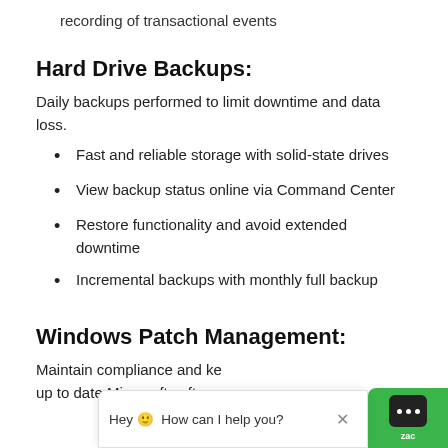recording of transactional events
Hard Drive Backups:
Daily backups performed to limit downtime and data loss.
Fast and reliable storage with solid-state drives
View backup status online via Command Center
Restore functionality and avoid extended downtime
Incremental backups with monthly full backup
Windows Patch Management:
Maintain compliance and ke up to date Microsoft softwa.